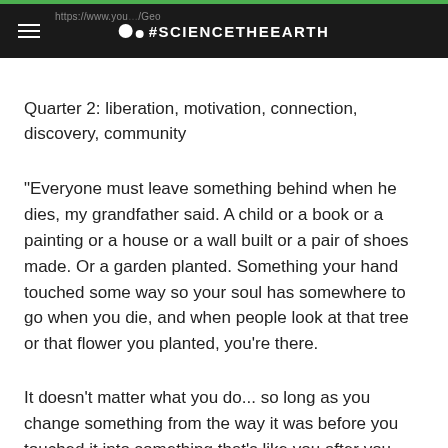#ScienceTheEarth
Quarter 2: liberation, motivation, connection, discovery, community
“Everyone must leave something behind when he dies, my grandfather said. A child or a book or a painting or a house or a wall built or a pair of shoes made. Or a garden planted. Something your hand touched some way so your soul has somewhere to go when you die, and when people look at that tree or that flower you planted, you’re there.
It doesn’t matter what you do... so long as you change something from the way it was before you touched it into something that’s like you after you take your hands away. The difference between the man who just cuts lawns and a